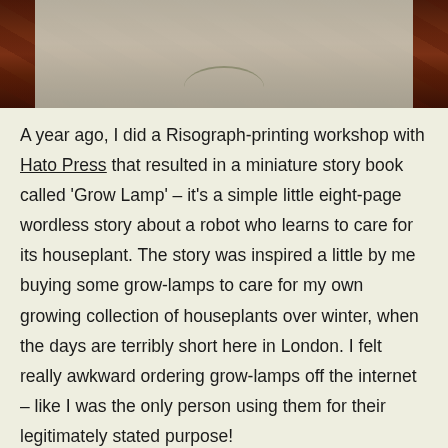[Figure (photo): Photograph showing printed materials on a dark wood surface, partially cropped at top]
A year ago, I did a Risograph-printing workshop with Hato Press that resulted in a miniature story book called 'Grow Lamp' – it's a simple little eight-page wordless story about a robot who learns to care for its houseplant. The story was inspired a little by me buying some grow-lamps to care for my own growing collection of houseplants over winter, when the days are terribly short here in London. I felt really awkward ordering grow-lamps off the internet – like I was the only person using them for their legitimately stated purpose!